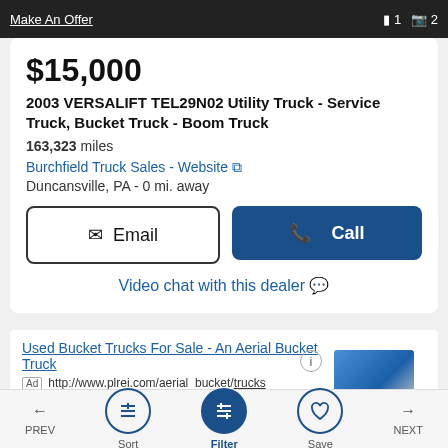Make An Offer  1  2
$15,000
2003 VERSALIFT TEL29N02 Utility Truck - Service Truck, Bucket Truck - Boom Truck
163,323 miles
Burchfield Truck Sales - Website
Duncansville, PA - 0 mi. away
Email   Call
Video chat with this dealer
Used Bucket Trucks For Sale - An Aerial Bucket Truck
Ad http://www.plrei.com/aerial_bucket/trucks
Our Equipment Is Fully Inspected and Tested For Safety
PREV  Sort  Filter  Save  NEXT